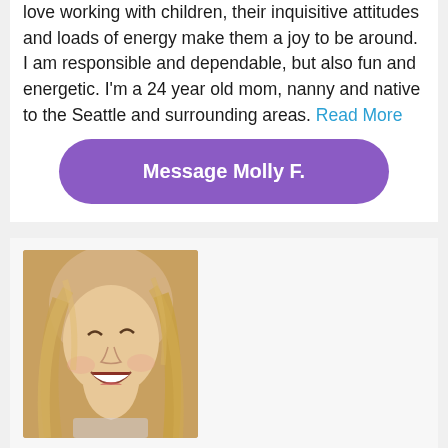love working with children, their inquisitive attitudes and loads of energy make them a joy to be around. I am responsible and dependable, but also fun and energetic. I'm a 24 year old mom, nanny and native to the Seattle and surrounding areas. Read More
Message Molly F.
[Figure (photo): Profile photo of a smiling blonde woman looking upward, laughing, with long blonde hair]
Sarah O.